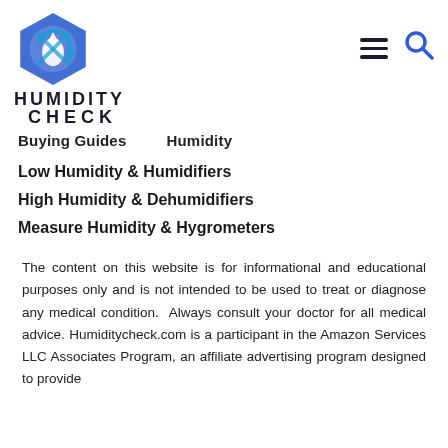[Figure (logo): Humidity Check logo: blue hexagon with water drop and circular arrow icon, with text HUMIDITY CHECK below]
Buying Guides   Humidity
Low Humidity & Humidifiers
High Humidity & Dehumidifiers
Measure Humidity & Hygrometers
The content on this website is for informational and educational purposes only and is not intended to be used to treat or diagnose any medical condition. Always consult your doctor for all medical advice. Humiditycheck.com is a participant in the Amazon Services LLC Associates Program, an affiliate advertising program designed to provide